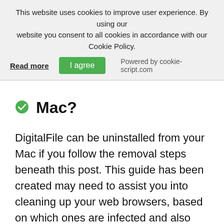This website uses cookies to improve user experience. By using our website you consent to all cookies in accordance with our Cookie Policy.
Read more | I agree | Powered by cookie-script.com
Mac?
DigitalFile can be uninstalled from your Mac if you follow the removal steps beneath this post. This guide has been created may need to assist you into cleaning up your web browsers, based on which ones are infected and also uninstall it from your Mac automatically or manually. If you want to delete the software the best way possible, then we would suggest the same as any expert would advise you and that is to run a scan of your computer using a professional anti-malware for Mac. Such as software has been created to thoroughly check your device against any trackers, malware, adware and other undesirable software and remove it.